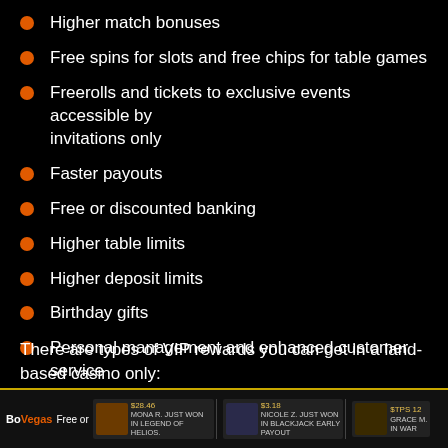Higher match bonuses
Free spins for slots and free chips for table games
Freerolls and tickets to exclusive events accessible by invitations only
Faster payouts
Free or discounted banking
Higher table limits
Higher deposit limits
Birthday gifts
Personal management and enhanced customer service
There are types of VIP rewards you can get in a land-based casino only:
BoVegas | Free or... | $28.46 MONA R. JUST WON IN LEGEND OF HELIOS. | Nicole Z. JUST WON IN BLACKJACK EARLY PAYOUT | $3.18 | GRACE M. IN WAR | $TPS 12